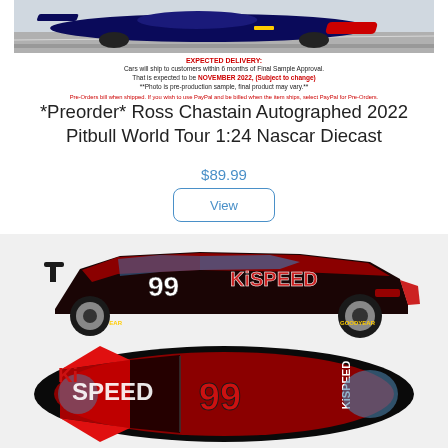[Figure (photo): Top portion of a NASCAR race car (Red Bull livery) on a track, partially cropped]
EXPECTED DELIVERY:
Cars will ship to customers within 6 months of Final Sample Approval.
That is expected to be NOVEMBER 2022, (Subject to change)
**Photo is pre-production sample, final product may vary.**
Pre-Orders bill when shipped. If you wish to use PayPal and be billed when the item ships, select PayPal for Pre-Orders.
*Preorder* Ross Chastain Autographed 2022 Pitbull World Tour 1:24 Nascar Diecast
$89.99
View
[Figure (illustration): Side view rendering of #99 Ki Speed NASCAR diecast car with dark red/black livery]
[Figure (illustration): Top/overhead view rendering of #99 Ki Speed NASCAR diecast car with dark red/black livery]